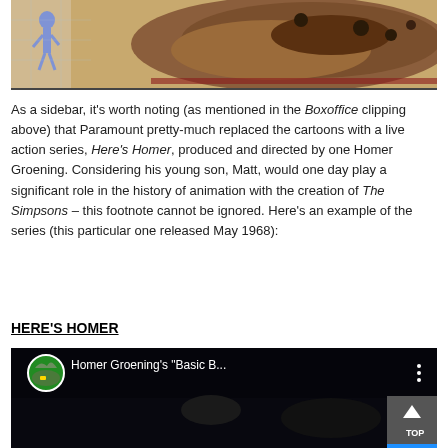[Figure (illustration): Partial view of an illustrated/animated scene with warm brown tones and a blue figure on the left side]
As a sidebar, it's worth noting (as mentioned in the Boxoffice clipping above) that Paramount pretty-much replaced the cartoons with a live action series, Here's Homer, produced and directed by one Homer Groening. Considering his young son, Matt, would one day play a significant role in the history of animation with the creation of The Simpsons – this footnote cannot be ignored. Here's an example of the series (this particular one released May 1968):
HERE'S HOMER
[Figure (screenshot): YouTube video thumbnail showing Homer Groening's "Basic B..." with a dark scene and circular channel icon showing a landscape]